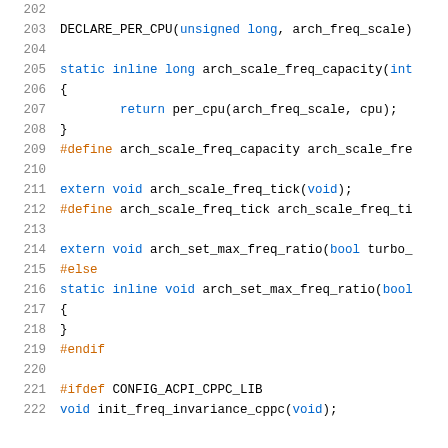[Figure (screenshot): Source code listing showing C/C++ code with line numbers 202-222, featuring function declarations and preprocessor directives related to CPU frequency scaling.]